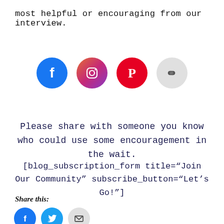most helpful or encouraging from our interview.
[Figure (infographic): Four large social media icon circles: Facebook (blue), Instagram (pink/magenta), Pinterest (red), and a chain-link/URL icon (gray).]
Please share with someone you know who could use some encouragement in the wait.
[blog_subscription_form title="Join Our Community" subscribe_button="Let's Go!"]
Share this:
[Figure (infographic): Three small share button circles: Facebook (blue), Twitter (light blue), Email (gray).]
Like this:
Loading...